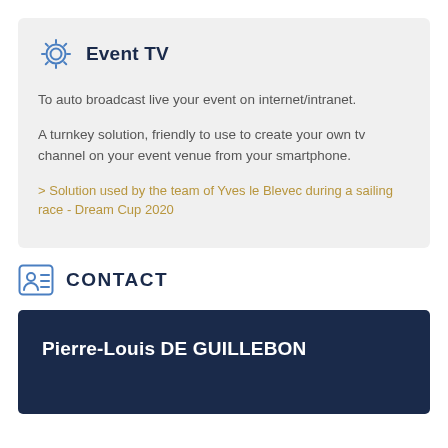Event TV
To auto broadcast live your event on internet/intranet.
A turnkey solution, friendly to use to create your own tv channel on your event venue from your smartphone.
> Solution used by the team of Yves le Blevec during a sailing race - Dream Cup 2020
CONTACT
Pierre-Louis DE GUILLEBON